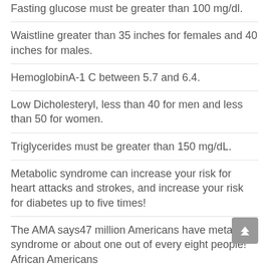Fasting glucose must be greater than 100 mg/dl.
Waistline greater than 35 inches for females and 40 inches for males.
HemoglobinA-1 C between 5.7 and 6.4.
Low Dicholesteryl, less than 40 for men and less than 50 for women.
Triglycerides must be greater than 150 mg/dL.
Metabolic syndrome can increase your risk for heart attacks and strokes, and increase your risk for diabetes up to five times!
The AMA says47 million Americans have metabolic syndrome or about one out of every eight people! African Americans...